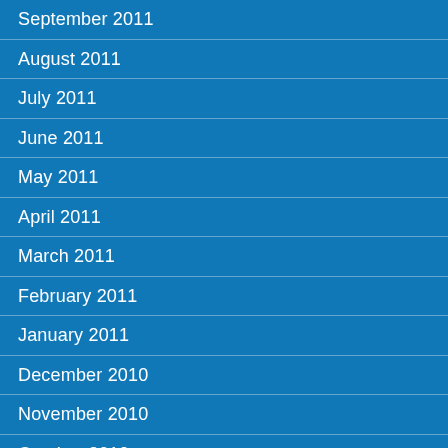September 2011
August 2011
July 2011
June 2011
May 2011
April 2011
March 2011
February 2011
January 2011
December 2010
November 2010
October 2010